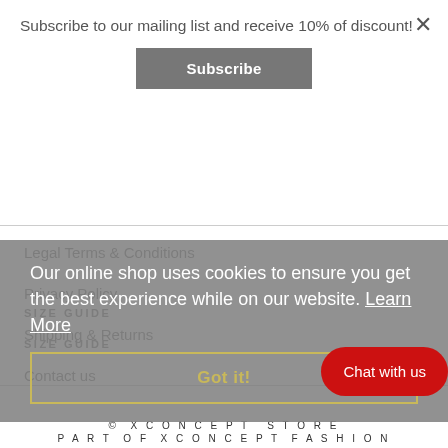Subscribe to our mailing list and receive 10% of discount!
Subscribe
Legal Terms & Conditions
Privacy Policy
Shipping & Returns
Contact us
Our online shop uses cookies to ensure you get the best experience while on our website. Learn More
Got it!
SIZE GUIDE
SIZE GUIDE
Chat with us
© XCONCEPT STORE
PART OF XCONCEPT FASHION